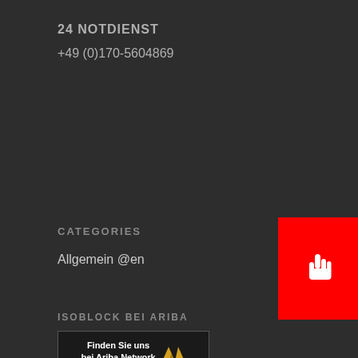24 NOTDIENST
+49 (0)170-5604869
[Figure (illustration): Red button with white hand/pointer icon on the right side of the page]
CATEGORIES
Allgemein @en
ISOBLOCK BEI ARIBA
[Figure (logo): Ariba Network badge button: black background with text 'Finden Sie uns bei Ariba Network' and Ariba logo]